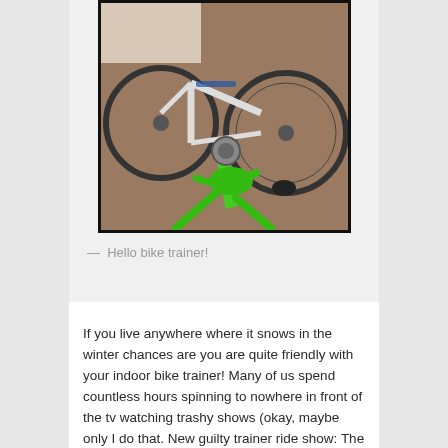[Figure (photo): A road bicycle mounted on a bright green indoor bike trainer, sitting on what appears to be a carpeted floor. The bike is white with blue Scott branding. The trainer has a distinctive bright green frame/stand.]
— Hello bike trainer!
If you live anywhere where it snows in the winter chances are you are quite friendly with your indoor bike trainer! Many of us spend countless hours spinning to nowhere in front of the tv watching trashy shows (okay, maybe only I do that. New guilty trainer ride show: The Bachelor)!
I've had a few inquiries about what kinds of workouts I do while on the trainer. Trainer rides can be quite boring as you can imagine. However, triathletes are made during